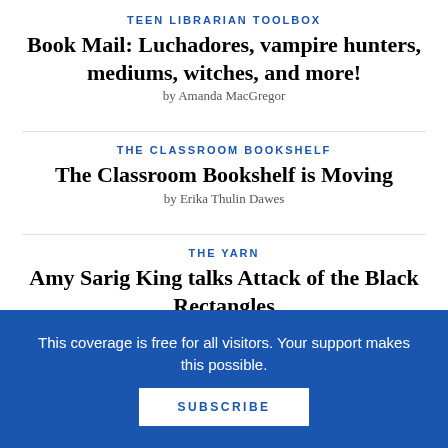TEEN LIBRARIAN TOOLBOX
Book Mail: Luchadores, vampire hunters, mediums, witches, and more!
by Amanda MacGregor
THE CLASSROOM BOOKSHELF
The Classroom Bookshelf is Moving
by Erika Thulin Dawes
THE YARN
Amy Sarig King talks Attack of the Black Rectangles
This coverage is free for all visitors. Your support makes this possible.
SUBSCRIBE